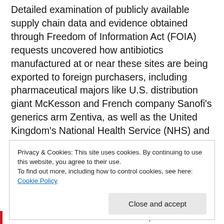Detailed examination of publicly available supply chain data and evidence obtained through Freedom of Information Act (FOIA) requests uncovered how antibiotics manufactured at or near these sites are being exported to foreign purchasers, including pharmaceutical majors like U.S. distribution giant McKesson and French company Sanofi's generics arm Zentiva, as well as the United Kingdom's National Health Service (NHS) and French hospitals.
Natasha Hurley, campaign manager at Changing Markets, said:
Privacy & Cookies: This site uses cookies. By continuing to use this website, you agree to their use.
To find out more, including how to control cookies, see here: Cookie Policy
[Close and accept]
U.S. markets also raises serious questions about